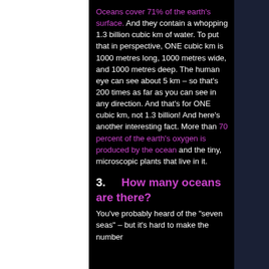Oceans cover 71% of the earth's surface. And they contain a whopping 1.3 billion cubic km of water. To put that in perspective, ONE cubic km is 1000 metres long, 1000 metres wide, and 1000 metres deep. The human eye can see about 5 km – so that's 200 times as far as you can see in any direction. And that's for ONE cubic km, not 1.3 billion! And here's another interesting fact. More than 70 percent of the earth's oxygen is produced by the ocean and the tiny, microscopic plants that live in it.
3.   How many oceans are there?
You've probably heard of the "seven seas" – but it's hard to make the number